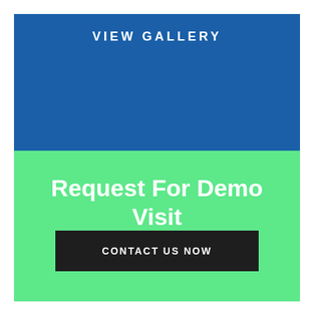VIEW GALLERY
Request For Demo Visit
CONTACT US NOW